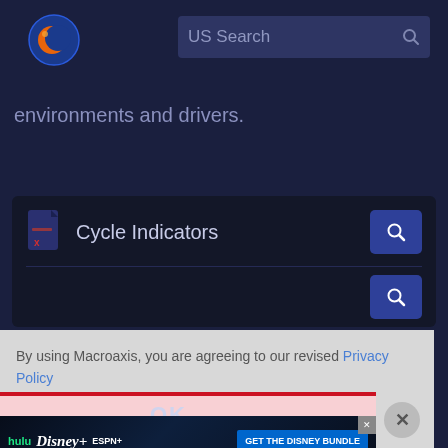[Figure (screenshot): Macroaxis website header with logo (orange and blue planet icon) and US Search bar on dark navy background]
environments and drivers.
[Figure (screenshot): Cycle Indicators search box with file icon and search button on dark navy card]
By using Macroaxis, you are agreeing to our revised Privacy Policy
[Figure (screenshot): Hulu Disney+ ESPN+ GET THE DISNEY BUNDLE advertisement banner with fine print: Incl. Hulu (ad-supported) or Hulu (No Ads). Access content from each service separately. ©2021 Disney and its related entities]